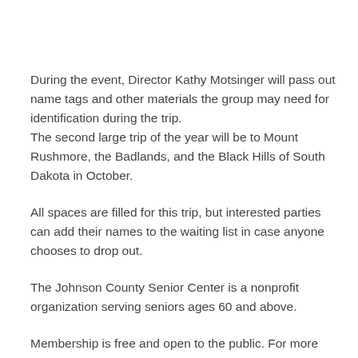During the event, Director Kathy Motsinger will pass out name tags and other materials the group may need for identification during the trip. The second large trip of the year will be to Mount Rushmore, the Badlands, and the Black Hills of South Dakota in October.
All spaces are filled for this trip, but interested parties can add their names to the waiting list in case anyone chooses to drop out.
The Johnson County Senior Center is a nonprofit organization serving seniors ages 60 and above.
Membership is free and open to the public. For more information, visit the